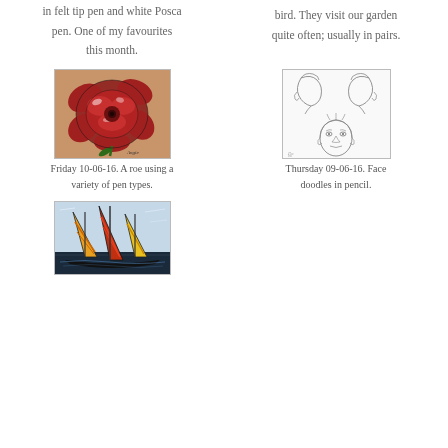in felt tip pen and white Posca pen. One of my favourites this month.
bird. They visit our garden quite often; usually in pairs.
[Figure (illustration): Drawing of a red rose on brown/kraft paper background, done in felt tip pen, with white Posca pen highlights. Artist signature visible at bottom right.]
[Figure (illustration): Pencil face doodles on white paper showing two profile head sketches at top and one frontal face sketch at bottom.]
Friday 10-06-16. A roe using a variety of pen types.
Thursday 09-06-16. Face doodles in pencil.
[Figure (illustration): Colourful painting/drawing of sailboats with bright red, yellow, and orange sails on water, done in expressive brush strokes.]